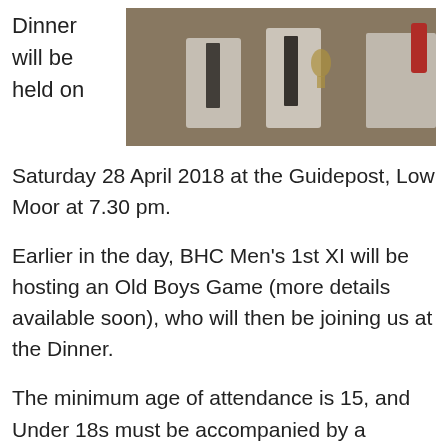Dinner will be held on
[Figure (photo): Photo of people in formal attire at a dinner event, wearing white shirts and dark ties.]
Saturday 28 April 2018 at the Guidepost, Low Moor at 7.30 pm.
Earlier in the day, BHC Men's 1st XI will be hosting an Old Boys Game (more details available soon), who will then be joining us at the Dinner.
The minimum age of attendance is 15, and Under 18s must be accompanied by a responsible adult.
However tickets for the Dinner are available to